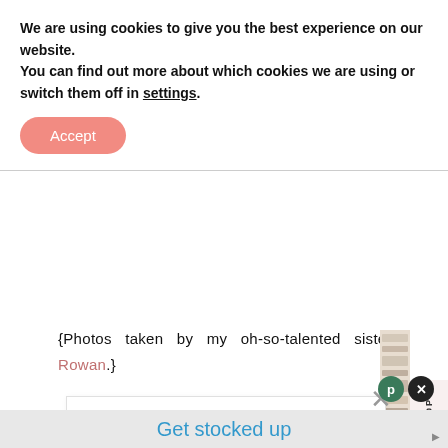We are using cookies to give you the best experience on our website.
You can find out more about which cookies we are using or switch them off in settings.
Accept
{Photos taken by my oh-so-talented sister, Rowan.}
JOIN THE LIST
...don’t miss out on real life stories, behind-the-scenes, tips on the best sales and exclusive content sent
BACK TO TOP
Get stocked up